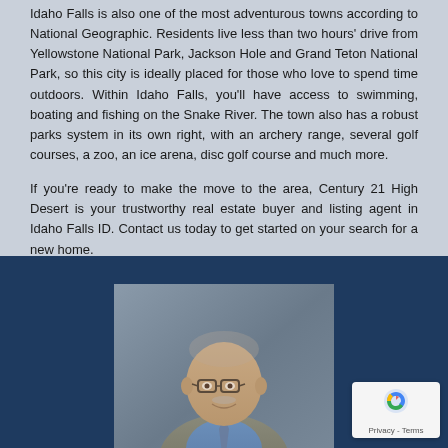Idaho Falls is also one of the most adventurous towns according to National Geographic. Residents live less than two hours' drive from Yellowstone National Park, Jackson Hole and Grand Teton National Park, so this city is ideally placed for those who love to spend time outdoors. Within Idaho Falls, you'll have access to swimming, boating and fishing on the Snake River. The town also has a robust parks system in its own right, with an archery range, several golf courses, a zoo, an ice arena, disc golf course and much more.
If you're ready to make the move to the area, Century 21 High Desert is your trustworthy real estate buyer and listing agent in Idaho Falls ID. Contact us today to get started on your search for a new home.
[Figure (photo): Professional headshot of a middle-aged bald man with glasses and a mustache, wearing a blue shirt and grey blazer with a tie, posed against a grey background. The photo is displayed on a dark navy blue background panel.]